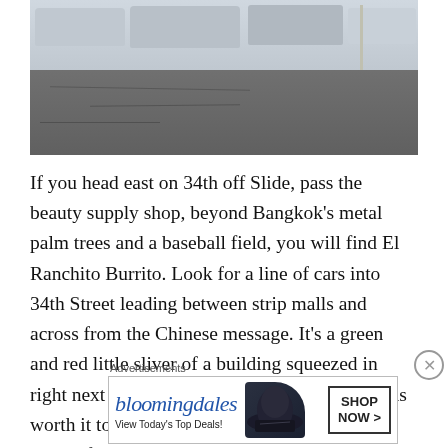[Figure (photo): Street-level photo showing parked cars and trucks in a parking area with a road in the foreground, taken in daylight.]
If you head east on 34th off Slide, pass the beauty supply shop, beyond Bangkok’s metal palm trees and a baseball field, you will find El Ranchito Burrito. Look for a line of cars into 34th Street leading between strip malls and across from the Chinese message. It’s a green and red little sliver of a building squeezed in right next to an old lawnmower repair shop. It is worth it to turn in and navigate through the maze of ginormous potholes even though each one threatens to swallow your vehicle
Advertisements
[Figure (screenshot): Bloomingdale’s advertisement banner. Logo reads ‘bloomingdales’ in blue italic text with tagline ‘View Today’s Top Deals!’ and a woman wearing a large dark hat, with a ‘SHOP NOW >’ button.]